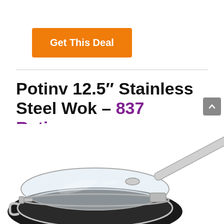Get This Deal
Potinv 12.5″ Stainless Steel Wok – 837 Ratings
25% OFF
[Figure (photo): Stainless steel wok with glass lid and long handle, photographed from above at an angle showing the interior and lid detail.]